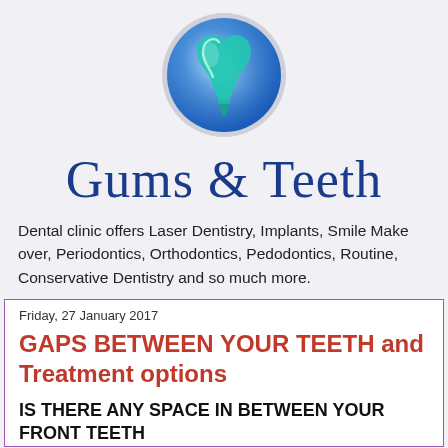[Figure (logo): Circular dental clinic logo with blue gradient background and teal tooth/heart icon with implant screw, surrounded by grey circle border]
Gums & Teeth
Dental clinic offers Laser Dentistry, Implants, Smile Make over, Periodontics, Orthodontics, Pedodontics, Routine, Conservative Dentistry and so much more.
Friday, 27 January 2017
GAPS BETWEEN YOUR TEETH and Treatment options
IS THERE ANY SPACE IN BETWEEN YOUR FRONT TEETH